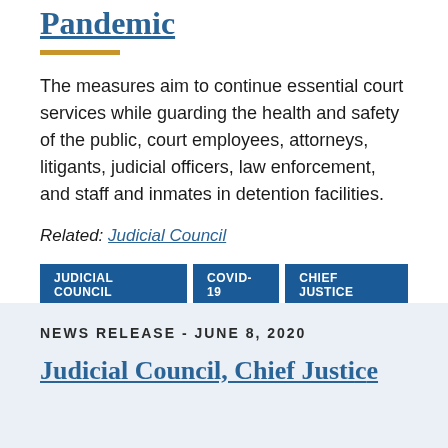Pandemic
The measures aim to continue essential court services while guarding the health and safety of the public, court employees, attorneys, litigants, judicial officers, law enforcement, and staff and inmates in detention facilities.
Related: Judicial Council
JUDICIAL COUNCIL
COVID-19
CHIEF JUSTICE
NEWS RELEASE - JUNE 8, 2020
Judicial Council, Chief Justice